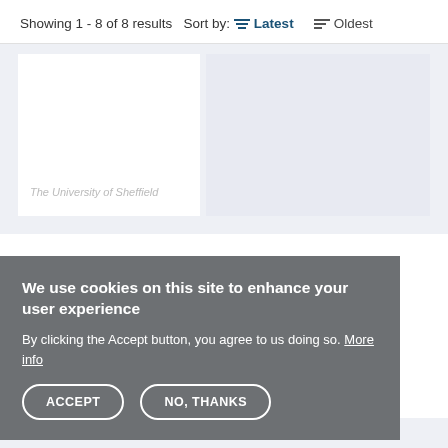Showing 1 - 8 of 8 results  Sort by:  Latest  Oldest
[Figure (screenshot): Content area with two placeholder cards on a light gray background, showing a white card on the left and a light blue-gray card on the right]
We use cookies on this site to enhance your user experience
By clicking the Accept button, you agree to us doing so. More info
ACCEPT
NO, THANKS